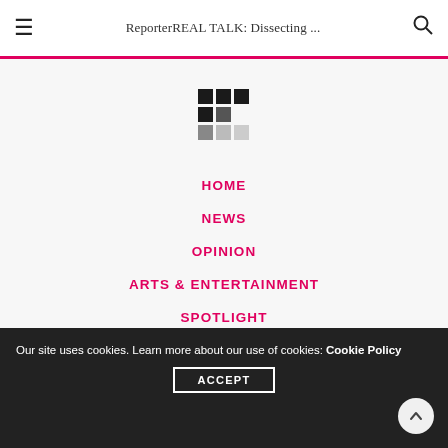ReporterREAL TALK: Dissecting ...
[Figure (logo): Reporter magazine logo made of dark and grey pixel squares in a T/R shape]
HOME
NEWS
OPINION
ARTS & ENTERTAINMENT
SPOTLIGHT
Our site uses cookies. Learn more about our use of cookies: Cookie Policy
ACCEPT